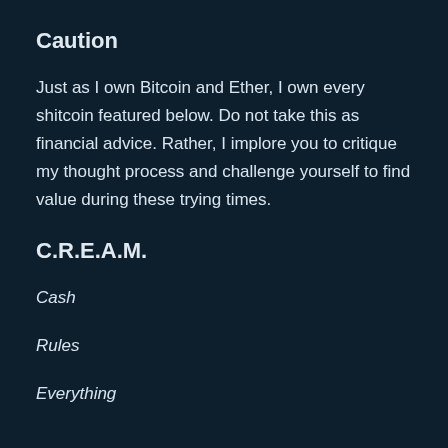Caution
Just as I own Bitcoin and Ether, I own every shitcoin featured below. Do not take this as financial advice. Rather, I implore you to critique my thought process and challenge yourself to find value during these trying times.
C.R.E.A.M.
Cash
Rules
Everything